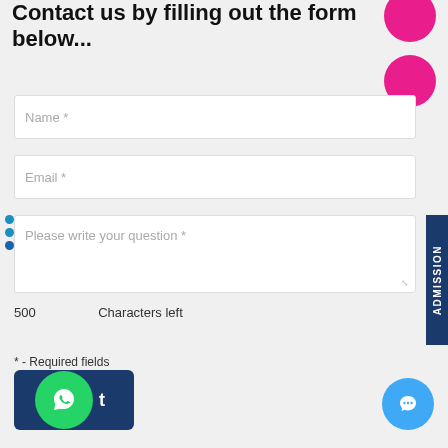Contact us by filling out the form below...
[Figure (screenshot): Web contact form with Name, Email, and question textarea fields, character counter, WhatsApp button, chat button, and ADMISSION sidebar tab]
Name *
Email *
Please write your question *
500    Characters left
* - Required fields